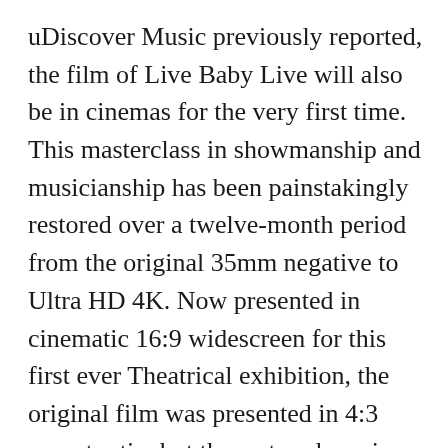uDiscover Music previously reported, the film of Live Baby Live will also be in cinemas for the very first time. This masterclass in showmanship and musicianship has been painstakingly restored over a twelve-month period from the original 35mm negative to Ultra HD 4K. Now presented in cinematic 16:9 widescreen for this first ever Theatrical exhibition, the original film was presented in 4:3 aspect ratio, but the restored version was created by shot-by-shot repositioning to get the best out of the frame. To accompany the astonishing visual upgrade, the audio is now be presented in full Dolby Atmos, created by Giles Martin, the band's Executive Music Director, and Sam Okell at Abbey Road Studios. The concert film